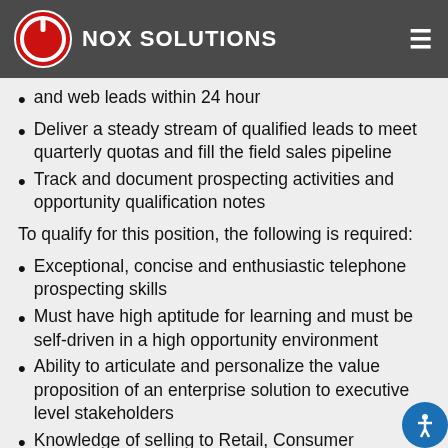NOX SOLUTIONS
and web leads within 24 hour
Deliver a steady stream of qualified leads to meet quarterly quotas and fill the field sales pipeline
Track and document prospecting activities and opportunity qualification notes
To qualify for this position, the following is required:
Exceptional, concise and enthusiastic telephone prospecting skills
Must have high aptitude for learning and must be self-driven in a high opportunity environment
Ability to articulate and personalize the value proposition of an enterprise solution to executive level stakeholders
Knowledge of selling to Retail, Consumer Manufacturing, Travel and Media organizations a plus
Focus on Enterprise sales a plus